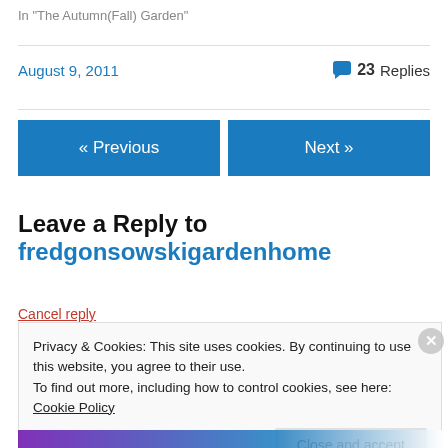In "The Autumn(Fall) Garden"
August 9, 2011
23 Replies
« Previous
Next »
Leave a Reply to fredgonsowskigardenhome
Cancel reply
Privacy & Cookies: This site uses cookies. By continuing to use this website, you agree to their use.
To find out more, including how to control cookies, see here: Cookie Policy
Close and accept